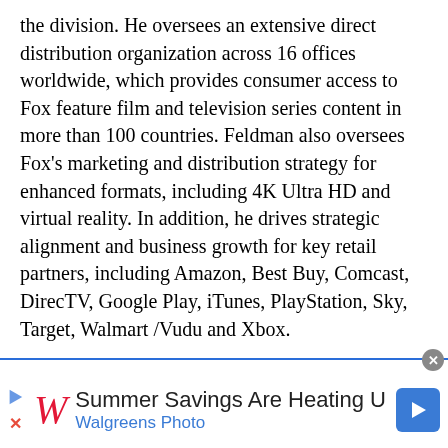the division. He oversees an extensive direct distribution organization across 16 offices worldwide, which provides consumer access to Fox feature film and television series content in more than 100 countries. Feldman also oversees Fox's marketing and distribution strategy for enhanced formats, including 4K Ultra HD and virtual reality. In addition, he drives strategic alignment and business growth for key retail partners, including Amazon, Best Buy, Comcast, DirecTV, Google Play, iTunes, PlayStation, Sky, Target, Walmart /Vudu and Xbox.
Danny Kaye
EVP and Managing Director, Fox Innovation Lab
Kaye works across all 21st Century Fox film and
[Figure (other): Walgreens Photo advertisement banner: 'Summer Savings Are Heating U' with Walgreens italic W logo, play button icon, close X icon, navigation arrow, and 'Walgreens Photo' subtitle in blue.]